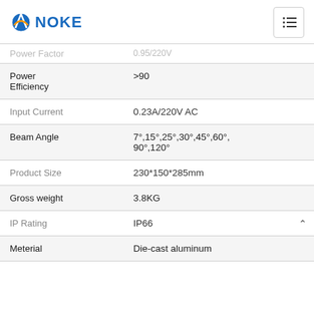NOKE
| Parameter | Value |
| --- | --- |
| Power Factor | 0.95/220V |
| Power Efficiency | >90 |
| Input Current | 0.23A/220V AC |
| Beam Angle | 7°,15°,25°,30°,45°,60°,90°,120° |
| Product Size | 230*150*285mm |
| Gross weight | 3.8KG |
| IP Rating | IP66 |
| Meterial | Die-cast aluminum |